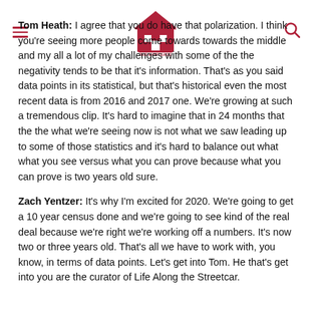The Mortgage Guidance Group — navigation header with hamburger menu, logo, and search icon
Tom Heath: I agree that you do have that polarization. I think you're seeing more people come towards towards the middle and my all a lot of my challenges with some of the the negativity tends to be that it's information. That's as you said data points in its statistical, but that's historical even the most recent data is from 2016 and 2017 one. We're growing at such a tremendous clip. It's hard to imagine that in 24 months that the the what we're seeing now is not what we saw leading up to some of those statistics and it's hard to balance out what what you see versus what you can prove because what you can prove is two years old sure.
Zach Yentzer: It's why I'm excited for 2020. We're going to get a 10 year census done and we're going to see kind of the real deal because we're right we're working off a numbers. It's now two or three years old. That's all we have to work with, you know, in terms of data points. Let's get into Tom. He that's get into you are the curator of Life Along the Streetcar.